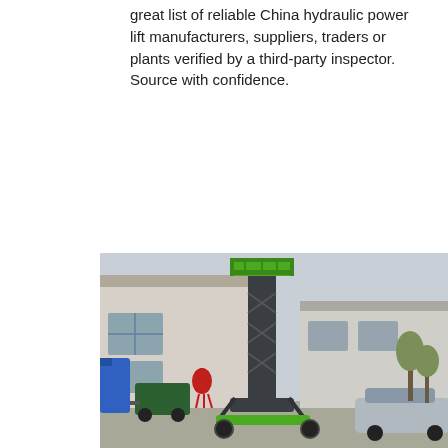great list of reliable China hydraulic power lift manufacturers, suppliers, traders or plants verified by a third-party inspector. Source with confidence.
[Figure (other): Orange 'Get Price' button]
[Figure (other): Dark blue sidebar with '24/7 Online' text, photo of woman with headset, 'Click here for free chat!' text, and orange 'QUOTATION' button]
[Figure (photo): Photo of a hydraulic vertical mast lift (man lift) in green and dark grey, parked outside an industrial warehouse building, with forklifts and cars visible]